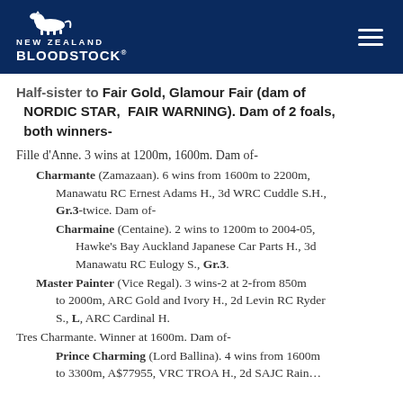NEW ZEALAND BLOODSTOCK
Half-sister to Fair Gold, Glamour Fair (dam of NORDIC STAR, FAIR WARNING). Dam of 2 foals, both winners-
Fille d'Anne. 3 wins at 1200m, 1600m. Dam of-
Charmante (Zamazaan). 6 wins from 1600m to 2200m, Manawatu RC Ernest Adams H., 3d WRC Cuddle S.H., Gr.3-twice. Dam of-
Charmaine (Centaine). 2 wins to 1200m to 2004-05, Hawke's Bay Auckland Japanese Car Parts H., 3d Manawatu RC Eulogy S., Gr.3.
Master Painter (Vice Regal). 3 wins-2 at 2-from 850m to 2000m, ARC Gold and Ivory H., 2d Levin RC Ryder S., L, ARC Cardinal H.
Tres Charmante. Winner at 1600m. Dam of-
Prince Charming (Lord Ballina). 4 wins from 1600m to 3300m, A$77955, VRC TROA H., 2d SAJC Rain…